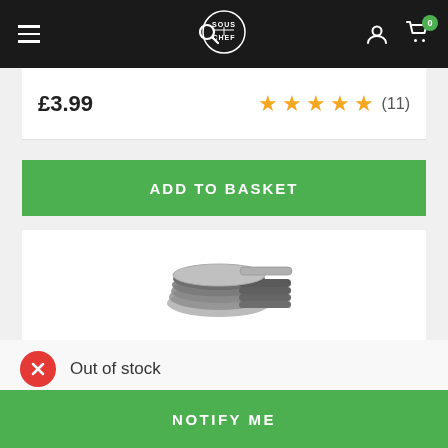Sous Chef navigation header with menu, logo, user, and cart icons
£3.99  ★★★★★ (11)
ADD TO BASKET
[Figure (photo): Stack of small stainless steel tasting spoons, with one spoon laid flat in front showing its oval bowl shape]
Out of stock
NOTIFY ME